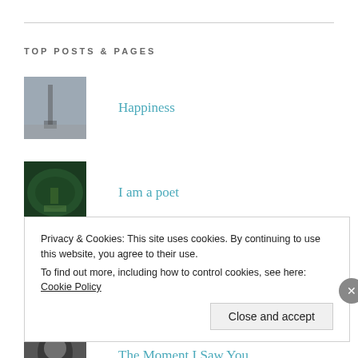TOP POSTS & PAGES
Happiness
I am a poet
Besiege Me
The Moment I Saw You
Privacy & Cookies: This site uses cookies. By continuing to use this website, you agree to their use.
To find out more, including how to control cookies, see here: Cookie Policy
Close and accept